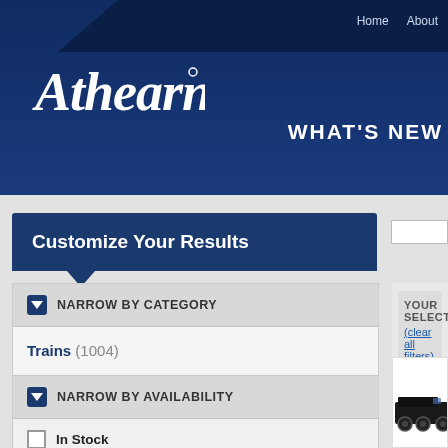Athearn | Home | About | WHAT'S NEW
Customize Your Results
You searched for:
NARROW BY CATEGORY
Trains (1004)
NARROW BY AVAILABILITY
In Stock
New Announcements
Coming Soon
View Retired Models
YOUR SELECTION:
(clear all filters)
Results: 1 - 18 of 1004
Sort by: Best Sellers | Latest
[Figure (photo): Athearn model train locomotive photograph in product listing area]